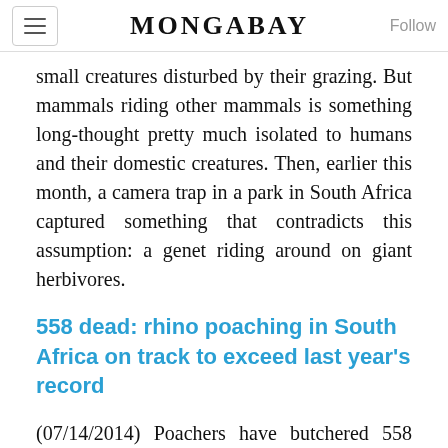MONGABAY
small creatures disturbed by their grazing. But mammals riding other mammals is something long-thought pretty much isolated to humans and their domestic creatures. Then, earlier this month, a camera trap in a park in South Africa captured something that contradicts this assumption: a genet riding around on giant herbivores.
558 dead: rhino poaching in South Africa on track to exceed last year's record
(07/14/2014) Poachers have butchered 558 rhinos in South Africa so far this year, approximately a hundred more